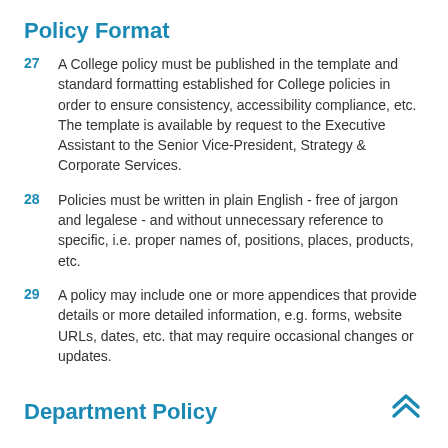Policy Format
27  A College policy must be published in the template and standard formatting established for College policies in order to ensure consistency, accessibility compliance, etc. The template is available by request to the Executive Assistant to the Senior Vice-President, Strategy & Corporate Services.
28  Policies must be written in plain English - free of jargon and legalese - and without unnecessary reference to specific, i.e. proper names of, positions, places, products, etc.
29  A policy may include one or more appendices that provide details or more detailed information, e.g. forms, website URLs, dates, etc. that may require occasional changes or updates.
Department Policy